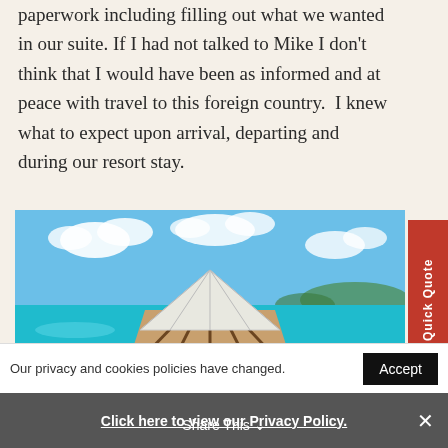paperwork including filling out what we wanted in our suite. If I had not talked to Mike I don't think that I would have been as informed and at peace with travel to this foreign country.  I knew what to expect upon arrival, departing and during our resort stay.
[Figure (photo): Aerial view of an overwater bungalow pavilion with thatched roof surrounded by turquoise Caribbean water, wooden deck with lounge chairs and people dining, small island visible in background]
Quick Quote
Our privacy and cookies policies have changed.
Accept
Click here to view our Privacy Policy.
Share This